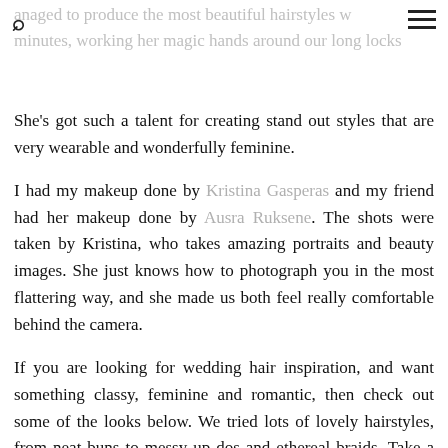anaged to produce the most beautiful hairstyles w... minutes, working her magic hands around our long locks...
She's got such a talent for creating stand out styles that are very wearable and wonderfully feminine.
I had my makeup done by Kristina Gasperas and my friend had her makeup done by Ausra Ruksene. The shots were taken by Kristina, who takes amazing portraits and beauty images. She just knows how to photograph you in the most flattering way, and she made us both feel really comfortable behind the camera.
If you are looking for wedding hair inspiration, and want something classy, feminine and romantic, then check out some of the looks below. We tried lots of lovely hairstyles, from neat buns to messy up dos and ethereal braids. Take a look at some of my favourites looks from the shoot below.
1. THE PRINCESS PLAIT – FOR RUSTIC FAIRYTALE WEDDINGS